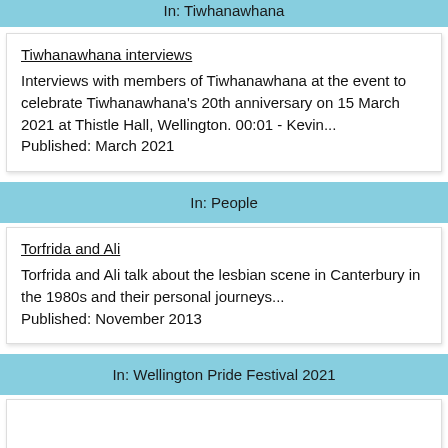In: Tiwhanawhana
Tiwhanawhana interviews
Interviews with members of Tiwhanawhana at the event to celebrate Tiwhanawhana's 20th anniversary on 15 March 2021 at Thistle Hall, Wellington. 00:01 - Kevin...
Published: March 2021
In: People
Torfrida and Ali
Torfrida and Ali talk about the lesbian scene in Canterbury in the 1980s and their personal journeys...
Published: November 2013
In: Wellington Pride Festival 2021